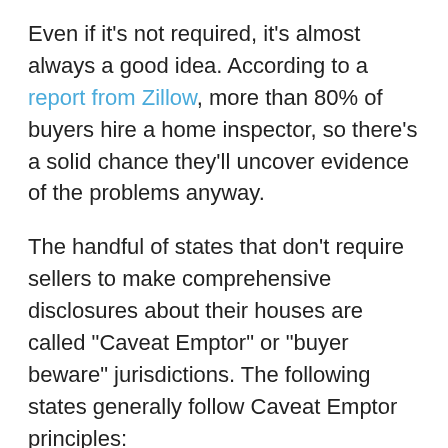Even if it's not required, it's almost always a good idea. According to a report from Zillow, more than 80% of buyers hire a home inspector, so there's a solid chance they'll uncover evidence of the problems anyway.
The handful of states that don't require sellers to make comprehensive disclosures about their houses are called "Caveat Emptor" or "buyer beware" jurisdictions. The following states generally follow Caveat Emptor principles:
Alabama
Arkansas
North Dakota